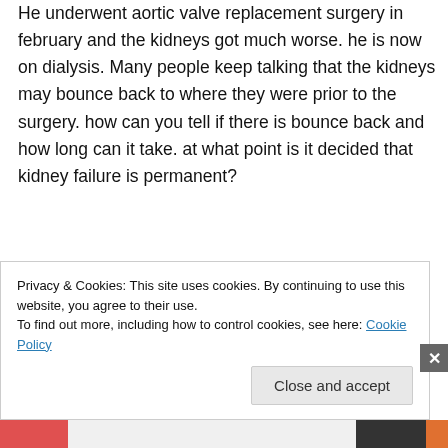He underwent aortic valve replacement surgery in february and the kidneys got much worse. he is now on dialysis. Many people keep talking that the kidneys may bounce back to where they were prior to the surgery. how can you tell if there is bounce back and how long can it take. at what point is it decided that kidney failure is permanent?
★ Like
↩ Reply
Privacy & Cookies: This site uses cookies. By continuing to use this website, you agree to their use.
To find out more, including how to control cookies, see here: Cookie Policy
Close and accept